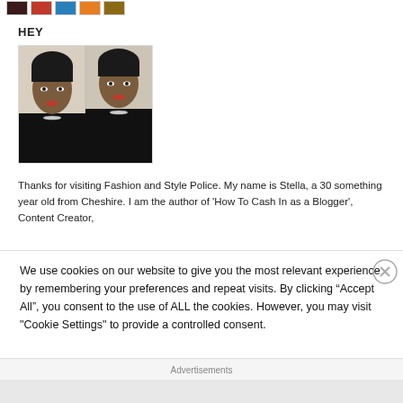[Figure (other): Row of small thumbnail images/icons at the top of a blog sidebar]
HEY
[Figure (photo): Two side-by-side portrait photos of a woman (Stella), wearing black, with red lipstick and a necklace]
Thanks for visiting Fashion and Style Police. My name is Stella, a 30 something year old from Cheshire. I am the author of 'How To Cash In as a Blogger', Content Creator,
We use cookies on our website to give you the most relevant experience by remembering your preferences and repeat visits. By clicking “Accept All”, you consent to the use of ALL the cookies. However, you may visit "Cookie Settings" to provide a controlled consent.
Advertisements